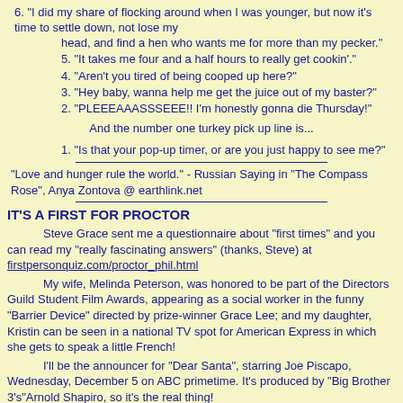6. "I did my share of flocking around when I was younger, but now it's time to settle down, not lose my head, and find a hen who wants me for more than my pecker."
5. "It takes me four and a half hours to really get cookin'."
4. "Aren't you tired of being cooped up here?"
3. "Hey baby, wanna help me get the juice out of my baster?"
2. "PLEEEAAASSSEEE!! I'm honestly gonna die Thursday!"
And the number one turkey pick up line is...
1. "Is that your pop-up timer, or are you just happy to see me?"
"Love and hunger rule the world." - Russian Saying in "The Compass Rose", Anya Zontova @ earthlink.net
IT'S A FIRST FOR PROCTOR
Steve Grace sent me a questionnaire about "first times" and you can read my "really fascinating answers" (thanks, Steve) at firstpersonquiz.com/proctor_phil.html
My wife, Melinda Peterson, was honored to be part of the Directors Guild Student Film Awards, appearing as a social worker in the funny "Barrier Device" directed by prize-winner Grace Lee; and my daughter, Kristin can be seen in a national TV spot for American Express in which she gets to speak a little French!
I'll be the announcer for "Dear Santa", starring Joe Piscapo, Wednesday, December 5 on ABC primetime. It's produced by "Big Brother 3's"Arnold Shapiro, so it's the real thing!
And you can catch the next Firesign Theatre Holiday bit between bites on NPR's "All Things Considered", this Thanksgiving Day!